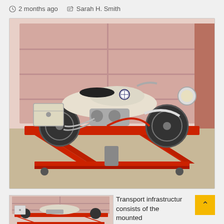2 months ago   Sarah H. Smith
[Figure (photo): A vintage BMW motorcycle (cream/white colored) mounted on a red hydraulic scissor lift table, parked in front of a pink brick wall and garage door. The motorcycle has a large saddlebag/box on the left side. The red lift table has a scissor mechanism visible underneath.]
[Figure (photo): Smaller thumbnail of the same vintage BMW motorcycle on the red lift table, similar angle.]
Transport infrastructur consists of the mounted